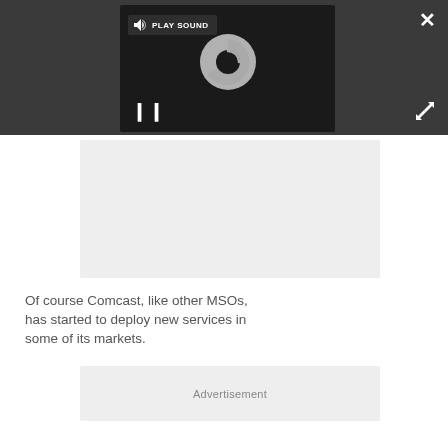[Figure (screenshot): Video player UI with dark background, loading spinner, play sound button, pause button, close (X) button, and expand button. The video appears to be loading with a circular spinner graphic visible.]
Of course Comcast, like other MSOs, has started to deploy new services in some of its markets.
[Figure (other): Advertisement placeholder box with grey background and 'Advertisement' label.]